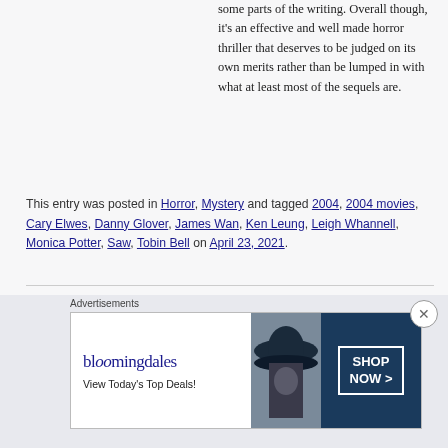some parts of the writing. Overall though, it's an effective and well made horror thriller that deserves to be judged on its own merits rather than be lumped in with what at least most of the sequels are.
This entry was posted in Horror, Mystery and tagged 2004, 2004 movies, Cary Elwes, Danny Glover, James Wan, Ken Leung, Leigh Whannell, Monica Potter, Saw, Tobin Bell on April 23, 2021.
[Figure (photo): Background image of movie poster or scene collage, faded/watermarked behind content]
Advertisements
[Figure (screenshot): Bloomingdales advertisement banner with logo, 'View Today's Top Deals!' text, a woman in a large hat, and a 'SHOP NOW >' button]